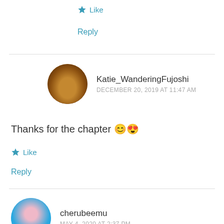★ Like
Reply
Katie_WanderingFujoshi
DECEMBER 20, 2019 AT 11:47 AM
Thanks for the chapter 😊😍
★ Like
Reply
cherubeemu
MAY 4, 2020 AT 2:37 PM